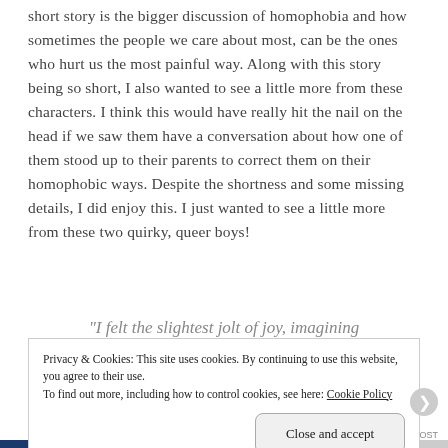short story is the bigger discussion of homophobia and how sometimes the people we care about most, can be the ones who hurt us the most painful way. Along with this story being so short, I also wanted to see a little more from these characters. I think this would have really hit the nail on the head if we saw them have a conversation about how one of them stood up to their parents to correct them on their homophobic ways. Despite the shortness and some missing details, I did enjoy this. I just wanted to see a little more from these two quirky, queer boys!
“I felt the slightest jolt of joy, imagining
Privacy & Cookies: This site uses cookies. By continuing to use this website, you agree to their use.
To find out more, including how to control cookies, see here: Cookie Policy
Close and accept